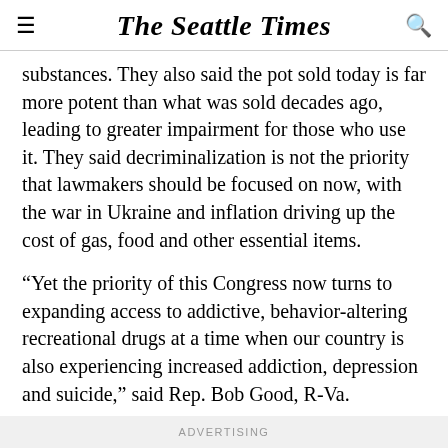The Seattle Times
substances. They also said the pot sold today is far more potent than what was sold decades ago, leading to greater impairment for those who use it. They said decriminalization is not the priority that lawmakers should be focused on now, with the war in Ukraine and inflation driving up the cost of gas, food and other essential items.
“Yet the priority of this Congress now turns to expanding access to addictive, behavior-altering recreational drugs at a time when our country is also experiencing increased addiction, depression and suicide,” said Rep. Bob Good, R-Va.
ADVERTISING